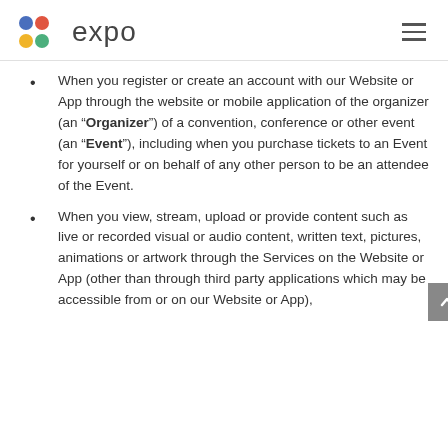expo
When you register or create an account with our Website or App through the website or mobile application of the organizer (an “Organizer”) of a convention, conference or other event (an “Event”), including when you purchase tickets to an Event for yourself or on behalf of any other person to be an attendee of the Event.
When you view, stream, upload or provide content such as live or recorded visual or audio content, written text, pictures, animations or artwork through the Services on the Website or App (other than through third party applications which may be accessible from or on our Website or App),